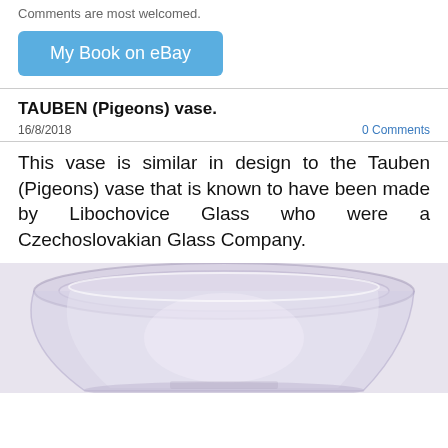Comments are most welcomed.
[Figure (other): Blue rounded rectangle button labeled 'My Book on eBay']
TAUBEN (Pigeons) vase.
16/8/2018
0 Comments
This vase is similar in design to the Tauben (Pigeons) vase that is known to have been made by Libochovice Glass who were a Czechoslovakian Glass Company.
[Figure (photo): Photograph of a clear glass Tauben (Pigeons) vase, showing the top rim and upper body of the vase against a light background.]